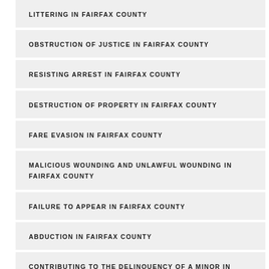LITTERING IN FAIRFAX COUNTY
OBSTRUCTION OF JUSTICE IN FAIRFAX COUNTY
RESISTING ARREST IN FAIRFAX COUNTY
DESTRUCTION OF PROPERTY IN FAIRFAX COUNTY
FARE EVASION IN FAIRFAX COUNTY
MALICIOUS WOUNDING AND UNLAWFUL WOUNDING IN FAIRFAX COUNTY
FAILURE TO APPEAR IN FAIRFAX COUNTY
ABDUCTION IN FAIRFAX COUNTY
CONTRIBUTING TO THE DELINQUENCY OF A MINOR IN FAIRFAX COUNTY
FALSE IDENTIFICATION IN FAIRFAX COUNTY